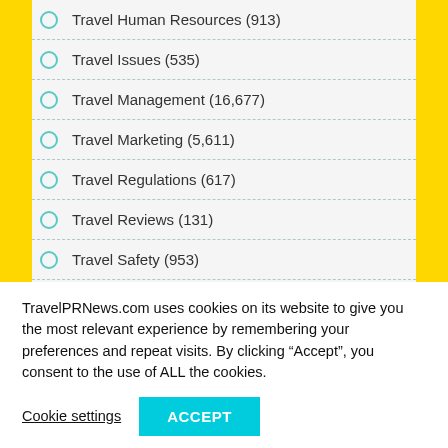Travel Human Resources (913)
Travel Issues (535)
Travel Management (16,677)
Travel Marketing (5,611)
Travel Regulations (617)
Travel Reviews (131)
Travel Safety (953)
Travel Services (24,724)
Travel Shopping (324)
TravelPRNews.com uses cookies on its website to give you the most relevant experience by remembering your preferences and repeat visits. By clicking “Accept”, you consent to the use of ALL the cookies.
Cookie settings  ACCEPT